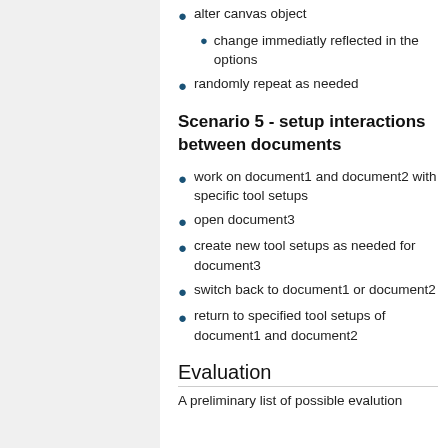alter canvas object
change immediatly reflected in the options
randomly repeat as needed
Scenario 5 - setup interactions between documents
work on document1 and document2 with specific tool setups
open document3
create new tool setups as needed for document3
switch back to document1 or document2
return to specified tool setups of document1 and document2
Evaluation
A preliminary list of possible evalution